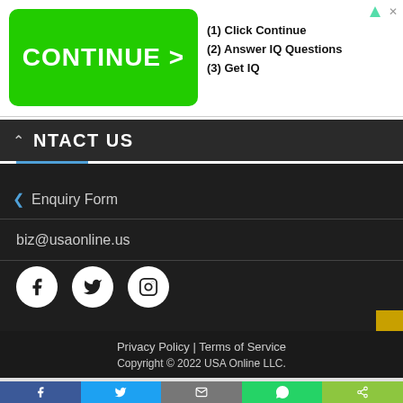[Figure (screenshot): Advertisement banner with green CONTINUE > button and text: (1) Click Continue, (2) Answer IQ Questions, (3) Get IQ]
CONTACT US
Enquiry Form
biz@usaonline.us
[Figure (other): Social media icons: Facebook, Twitter, Instagram]
Privacy Policy | Terms of Service
Copyright © 2022 USA Online LLC.
[Figure (other): Bottom share bar with Facebook, Twitter, Email, WhatsApp, and share buttons]